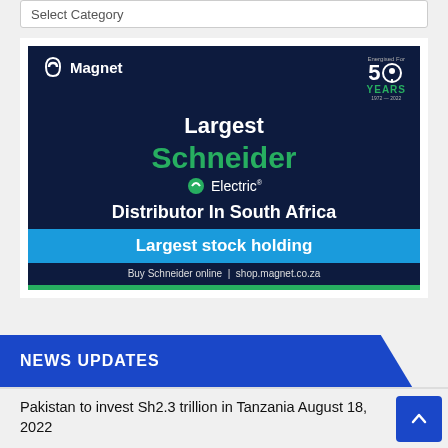Select Category
[Figure (advertisement): Magnet brand advertisement for Schneider Electric: 'Largest Schneider Electric Distributor In South Africa. Largest stock holding. Buy Schneider online | shop.magnet.co.za'. Dark blue background, green Schneider branding. Energised for 50 Years badge in top right.]
NEWS UPDATES
Pakistan to invest Sh2.3 trillion in Tanzania August 18, 2022